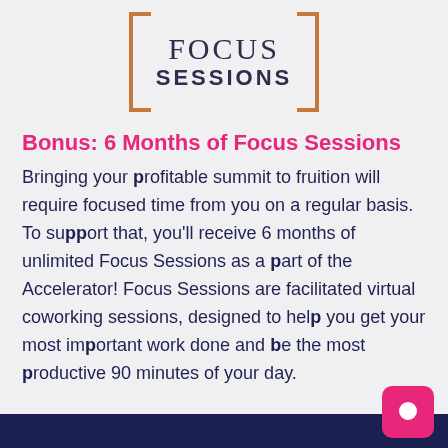[Figure (logo): Focus Sessions logo with bracketed text in orange brackets, FOCUS in serif font and SESSIONS in bold sans-serif, dark navy color]
Bonus: 6 Months of Focus Sessions
Bringing your profitable summit to fruition will require focused time from you on a regular basis. To support that, you'll receive 6 months of unlimited Focus Sessions as a part of the Accelerator! Focus Sessions are facilitated virtual coworking sessions, designed to help you get your most important work done and be the most productive 90 minutes of your day.